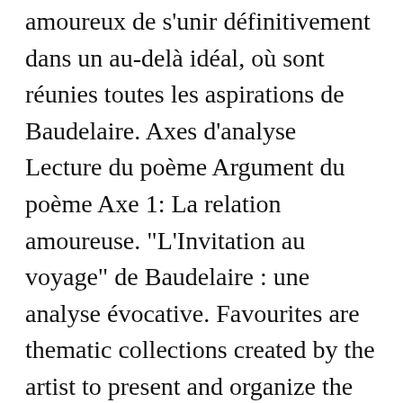amoureux de s'unir définitivement dans un au-delà idéal, où sont réunies toutes les aspirations de Baudelaire. Axes d'analyse Lecture du poème Argument du poème Axe 1: La relation amoureuse. "L'Invitation au voyage" de Baudelaire : une analyse évocative. Favourites are thematic collections created by the artist to present and organize the work of other artists in the best way according to his artistic vision. Programme samedi, le 20 mai 11h00 ; 15h00 Tour en bus historique des années 1950 Programme dimanche, le 21 mai 11h00 ; 15h00 Tour en bus historique des années 1950 11h00 – 18h00 Bourse et expo de modèles réduits 11. L'Invitation au voyage est un poème de Baudelaire extrait de Spleen et